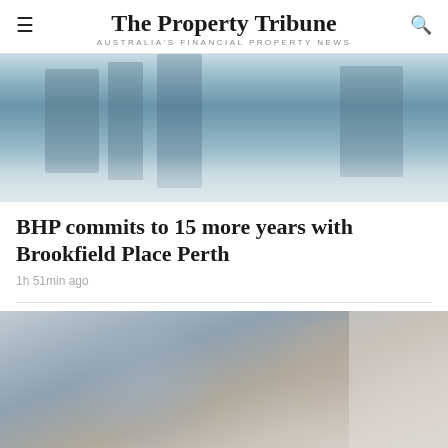The Property Tribune — AUSTRALIA'S FINANCIAL PROPERTY NEWS
[Figure (photo): Aerial or street-level photo of Perth city buildings with blue sky, partially visible at the top of the page.]
BHP commits to 15 more years with Brookfield Place Perth
1h 51min ago
[Figure (photo): Blurred photo of a man and woman sitting on a couch looking at a phone or tablet together.]